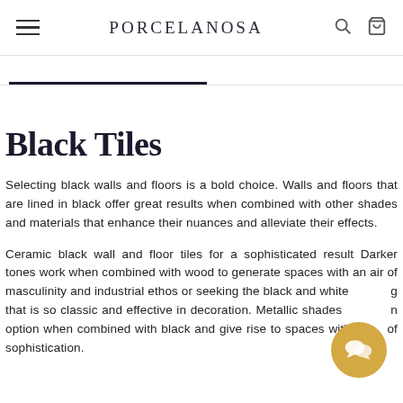PORCELANOSA
Black Tiles
Selecting black walls and floors is a bold choice. Walls and floors that are lined in black offer great results when combined with other shades and materials that enhance their nuances and alleviate their effects.
Ceramic black wall and floor tiles for a sophisticated result Darker tones work when combined with wood to generate spaces with an air of masculinity and industrial ethos or seeking the black and white look that is so classic and effective in decoration. Metallic shades are an option when combined with black and give rise to spaces with an air of sophistication.